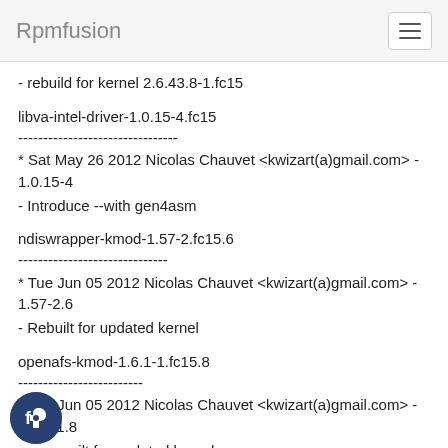Rpmfusion
- rebuild for kernel 2.6.43.8-1.fc15
libva-intel-driver-1.0.15-4.fc15
--------------------------------
* Sat May 26 2012 Nicolas Chauvet <kwizart(a)gmail.com&gt; - 1.0.15-4
- Introduce --with gen4asm
ndiswrapper-kmod-1.57-2.fc15.6
------------------------------
* Tue Jun 05 2012 Nicolas Chauvet <kwizart(a)gmail.com&gt; - 1.57-2.6
- Rebuilt for updated kernel
openafs-kmod-1.6.1-1.fc15.8
-------------------------
* Tue Jun 05 2012 Nicolas Chauvet <kwizart(a)gmail.com&gt; - 1.6.1-1.8
- Rebuilt for updated kernel